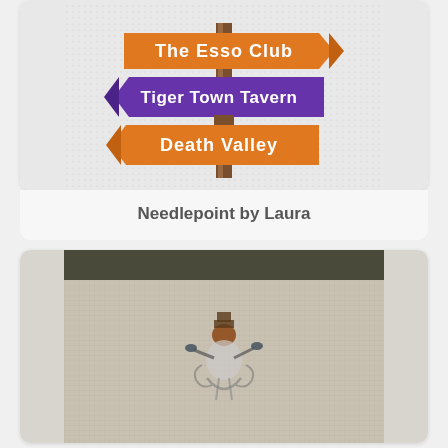[Figure (illustration): Cross-stitch needlepoint canvas showing a directional sign post with three arrow signs: 'The Esso Club' in orange, 'Tiger Town Tavern' in purple, and 'Death Valley' in orange, on a gridded white canvas background.]
Needlepoint by Laura
[Figure (photo): Photo of a needlepoint canvas in progress on linen fabric, showing a small stitched figure/character design partially completed, with a dark fabric border at the top.]